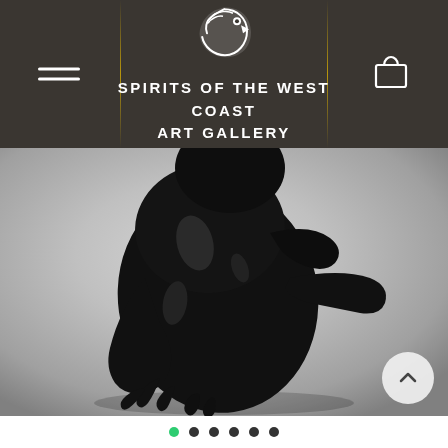[Figure (logo): Spirits of the West Coast Art Gallery logo — stylized eagle/thunderbird head in white on dark background]
SPIRITS OF THE WEST COAST ART GALLERY
[Figure (photo): Close-up photograph of a polished black argillite or soapstone sculpture depicting a crouching figure with bird/eagle elements, set against a grey gradient background]
[Figure (other): Carousel navigation dots at bottom — 6 dots total, first dot is green (active), rest are dark grey]